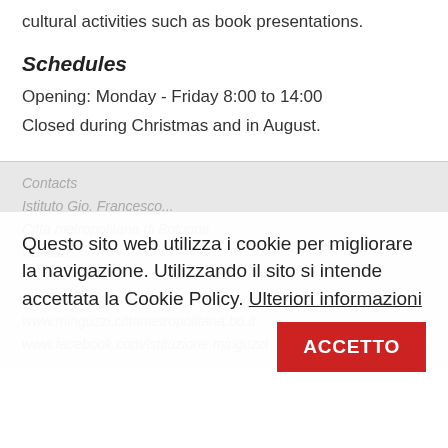cultural activities such as book presentations.
Schedules
Opening: Monday - Friday 8:00 to 14:00
Closed during Christmas and in August.
Contacts
Istituto Gio. Francesco...Utilizzando il
Città metropolitana di Bologna
via San... sito si intende accettata la Cookie
tel. 0516598111
Policy. Ulteriori informazioni
minguzzi@... ACCETTO
www.minguzzi.cittametropolitana.bo.it
www.facebook.com/istituzione.minguzzi
Questo sito web utilizza i cookie per migliorare la navigazione. Utilizzando il sito si intende accettata la Cookie Policy. Ulteriori informazioni